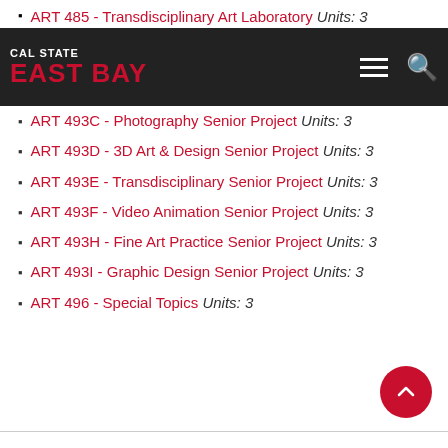ART 485 - Transdisciplinary Art Laboratory Units: 3
ART 493A - Illustration Senior Project Units: 3
ART 493B - Interaction and Game Design Senior Project Units: 3
ART 493C - Photography Senior Project Units: 3
ART 493D - 3D Art & Design Senior Project Units: 3
ART 493E - Transdisciplinary Senior Project Units: 3
ART 493F - Video Animation Senior Project Units: 3
ART 493H - Fine Art Practice Senior Project Units: 3
ART 493I - Graphic Design Senior Project Units: 3
ART 496 - Special Topics Units: 3